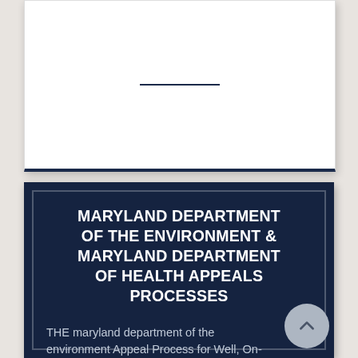[Figure (other): White card with a horizontal dark navy line in the center, with a dark navy bottom border]
MARYLAND DEPARTMENT OF THE ENVIRONMENT & MARYLAND DEPARTMENT OF HEALTH APPEALS PROCESSES
THE maryland department of the environment Appeal Process for Well, On-